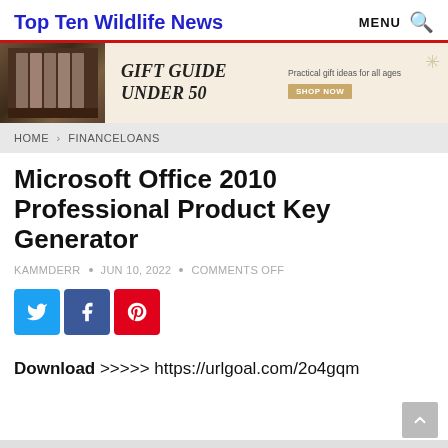Top Ten Wildlife News  MENU 🔍
[Figure (illustration): Advertisement banner: Gift Guide Under 50, Practical gift ideas for all ages, with shop now button and decorative snowflakes]
HOME › FINANCELOANS
Microsoft Office 2010 Professional Product Key Generator
KAMMDERR  •  JUN 10, 2022  •  COMMENTS OFF
[Figure (infographic): Social sharing buttons: Twitter (blue), Facebook (dark blue), Pinterest (red)]
Download >>>>> https://urlgoal.com/2o4gqm